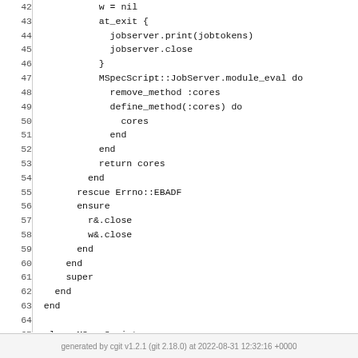[Figure (screenshot): Code listing showing Ruby source code lines 42-67, with line numbers on the left separated by a vertical bar, displaying a code block involving jobserver, MSpecScript::JobServer module_eval, rescue Errno::EBADF, ensure, and class MSpecScript with prepend JobServer.]
generated by cgit v1.2.1 (git 2.18.0) at 2022-08-31 12:32:16 +0000